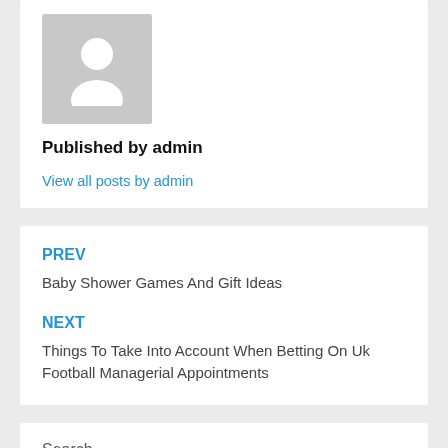[Figure (illustration): Generic user avatar placeholder image — grey background with white silhouette of a person]
Published by admin
View all posts by admin
PREV
Baby Shower Games And Gift Ideas
NEXT
Things To Take Into Account When Betting On Uk Football Managerial Appointments
Search